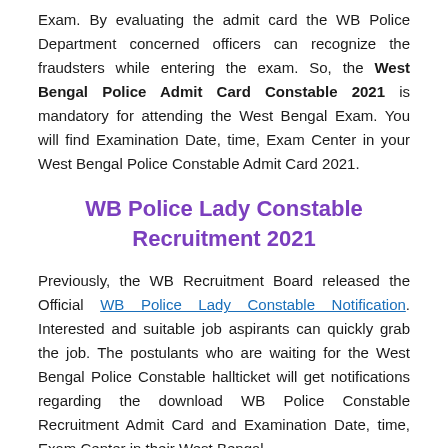Exam. By evaluating the admit card the WB Police Department concerned officers can recognize the fraudsters while entering the exam. So, the West Bengal Police Admit Card Constable 2021 is mandatory for attending the West Bengal Exam. You will find Examination Date, time, Exam Center in your West Bengal Police Constable Admit Card 2021.
WB Police Lady Constable Recruitment 2021
Previously, the WB Recruitment Board released the Official WB Police Lady Constable Notification. Interested and suitable job aspirants can quickly grab the job. The postulants who are waiting for the West Bengal Police Constable hallticket will get notifications regarding the download WB Police Constable Recruitment Admit Card and Examination Date, time, Exam Center in their West Bengal